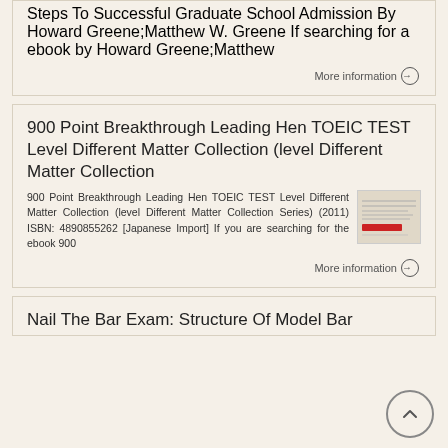Steps To Successful Graduate School Admission By Howard Greene;Matthew W. Greene If searching for a ebook by Howard Greene;Matthew
More information →
900 Point Breakthrough Leading Hen TOEIC TEST Level Different Matter Collection (level Different Matter Collection
900 Point Breakthrough Leading Hen TOEIC TEST Level Different Matter Collection (level Different Matter Collection Series) (2011) ISBN: 4890855262 [Japanese Import] If you are searching for the ebook 900
[Figure (photo): Small book cover thumbnail image with red bar]
More information →
Nail The Bar Exam: Structure Of Model Bar